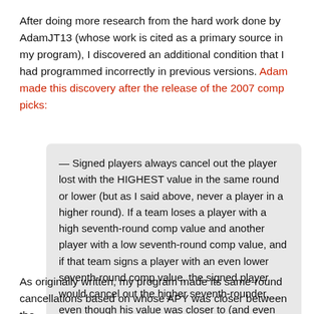After doing more research from the hard work done by AdamJT13 (whose work is cited as a primary source in my program), I discovered an additional condition that I had programmed incorrectly in previous versions. Adam made this discovery after the release of the 2007 comp picks:
— Signed players always cancel out the player lost with the HIGHEST value in the same round or lower (but as I said above, never a player in a higher round). If a team loses a player with a high seventh-round comp value and another player with a low seventh-round comp value, and if that team signs a player with an even lower seventh-round comp value, the signed player would cancel out the higher seventh-rounder, even though his value was closer to (and even less than) the low seventh-rounder.
As originally written, my program made its same-round cancellations based on whose APY was closer between the